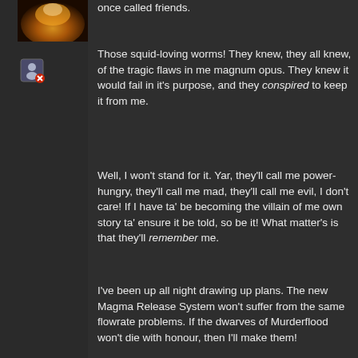[Figure (photo): Partial avatar image showing an orange/flame-colored scene, cropped at top-left of the page]
[Figure (illustration): Small user/member icon with a red X badge, indicating offline or unavailable status]
once called friends.
Those squid-loving worms! They knew, they all knew, of the tragic flaws in me magnum opus. They knew it would fail in it's purpose, and they conspired to keep it from me.
Well, I won't stand for it. Yar, they'll call me power-hungry, they'll call me mad, they'll call me evil, I don't care! If I have ta' be becoming the villain of me own story ta' ensure it be told, so be it! What matter's is that they'll remember me.
I've been up all night drawing up plans. The new Magma Release System won't suffer from the same flowrate problems. If the dwarves of Murderflood won't die with honour, then I'll make them!
First things first: everyone can stop pumping. If we automate the process, we